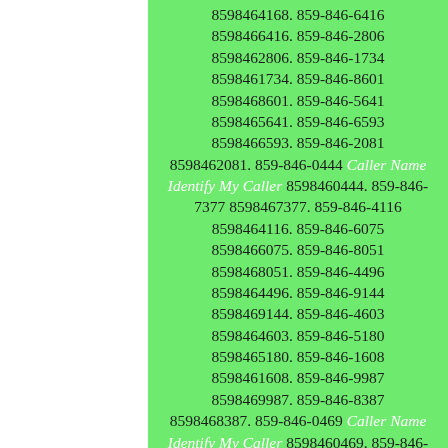8598464168. 859-846-6416 8598466416. 859-846-2806 8598462806. 859-846-1734 8598461734. 859-846-8601 8598468601. 859-846-5641 8598465641. 859-846-6593 8598466593. 859-846-2081 8598462081. 859-846-0444 Caller Name Identify My Caller 8598460444. 859-846-7377 8598467377. 859-846-4116 8598464116. 859-846-6075 8598466075. 859-846-8051 8598468051. 859-846-4496 8598464496. 859-846-9144 8598469144. 859-846-4603 8598464603. 859-846-5180 8598465180. 859-846-1608 8598461608. 859-846-9987 8598469987. 859-846-8387 8598468387. 859-846-0469 Caller Name Identify My Caller 8598460469. 859-846-5457 8598465457. 859-846-5881 8598465881. 859-846-9763 8598469763. 859-846-0456 Caller Name Identify My Caller 8598460456. 859-